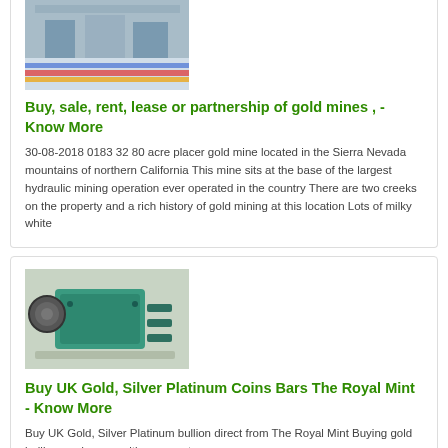[Figure (photo): Interior of an industrial facility with colorful equipment on a shiny floor]
Buy, sale, rent, lease or partnership of gold mines , - Know More
30-08-2018 0183 32 80 acre placer gold mine located in the Sierra Nevada mountains of northern California This mine sits at the base of the largest hydraulic mining operation ever operated in the country There are two creeks on the property and a rich history of gold mining at this location Lots of milky white
[Figure (photo): Industrial green machinery, likely a roller mill or crusher]
Buy UK Gold, Silver Platinum Coins Bars The Royal Mint - Know More
Buy UK Gold, Silver Platinum bullion direct from The Royal Mint Buying gold bullion made easy with secure storage...